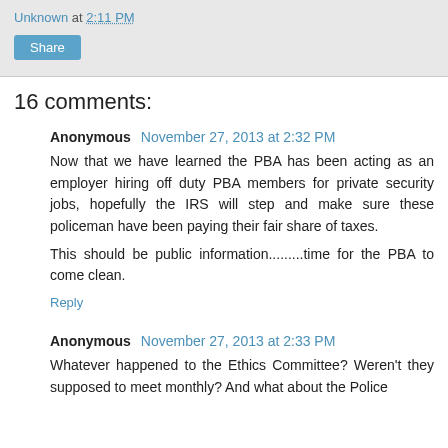Unknown at 2:11 PM
Share
16 comments:
Anonymous November 27, 2013 at 2:32 PM
Now that we have learned the PBA has been acting as an employer hiring off duty PBA members for private security jobs, hopefully the IRS will step and make sure these policeman have been paying their fair share of taxes.

This should be public information.........time for the PBA to come clean.
Reply
Anonymous November 27, 2013 at 2:33 PM
Whatever happened to the Ethics Committee? Weren't they supposed to meet monthly? And what about the Police